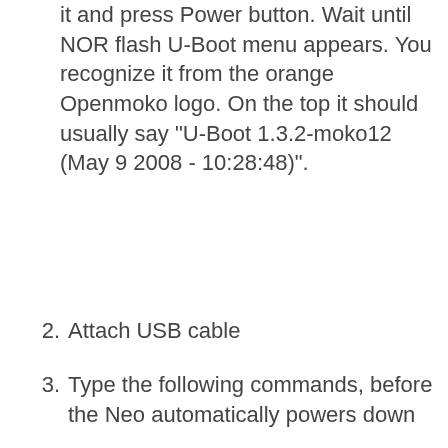it and press Power button. Wait until NOR flash U-Boot menu appears. You recognize it from the orange Openmoko logo. On the top it should usually say "U-Boot 1.3.2-moko12 (May 9 2008 - 10:28:48)".
2. Attach USB cable
3. Type the following commands, before the Neo automatically powers down